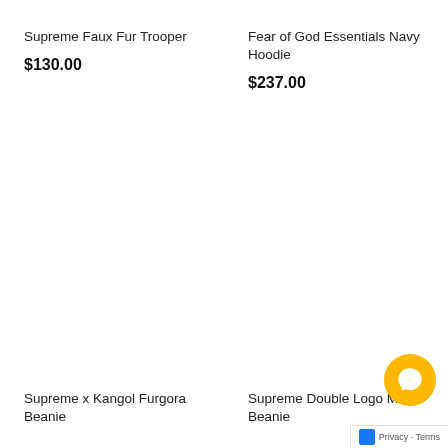Supreme Faux Fur Trooper
$130.00
Fear of God Essentials Navy Hoodie
$237.00
Supreme x Kangol Furgora Beanie
Supreme Double Logo Mask Beanie